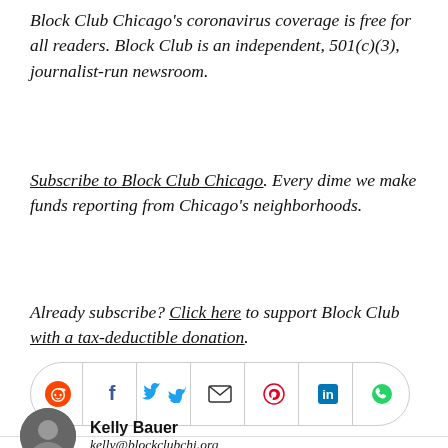Block Club Chicago's coronavirus coverage is free for all readers. Block Club is an independent, 501(c)(3), journalist-run newsroom.
Subscribe to Block Club Chicago. Every dime we make funds reporting from Chicago's neighborhoods.
Already subscribe? Click here to support Block Club with a tax-deductible donation.
[Figure (other): Social sharing icon bar with Reddit, Facebook, Twitter, Email, Pinterest, LinkedIn, and WhatsApp icons in a rounded rectangle container]
Kelly Bauer
kelly@blockclubchi.org